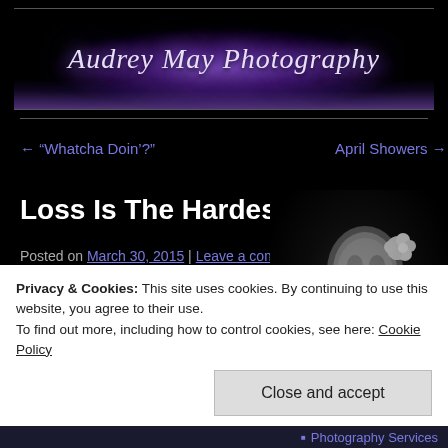[Figure (illustration): Audrey May Photography website header banner with purple radial glow effect and stylized italic text on black background]
← “Whatcha Doin’?”      April Showers →
Loss Is The Hardest Thing
Posted on March 30, 2015 | Leave a comment
[Figure (photo): Black and white portrait photograph of a person with a white flower in their hair, looking downward, on dark background]
Anyone who has ever lost a beloved pet,
Privacy & Cookies: This site uses cookies. By continuing to use this website, you agree to their use.
To find out more, including how to control cookies, see here: Cookie Policy
Close and accept
Photography Services